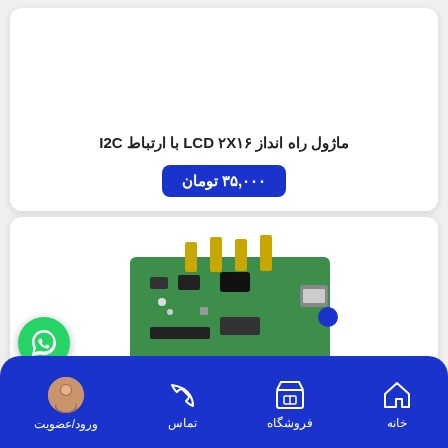[Figure (photo): Product card with white background for LCD module]
ماژول راه انداز LCD ۲X۱۶ با ارتباط I2C
۳۵,۰۰۰ تومان
[Figure (photo): Electronic module/development board with connectors shown partially]
خانه | فروشگاه | تماس | ورود/عضویت